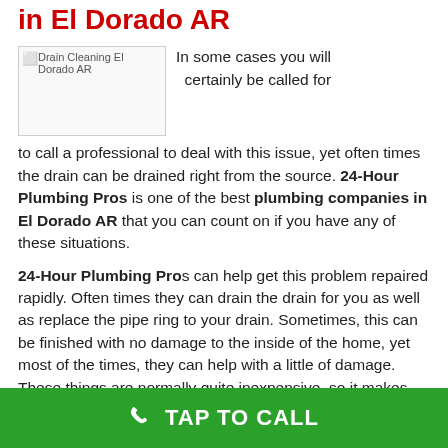Professional Drain Cleaning in El Dorado AR
[Figure (photo): Drain Cleaning El Dorado AR placeholder image]
In some cases you will certainly be called for to call a professional to deal with this issue, yet often times the drain can be drained right from the source. 24-Hour Plumbing Pros is one of the best plumbing companies in El Dorado AR that you can count on if you have any of these situations.
24-Hour Plumbing Pros can help get this problem repaired rapidly. Often times they can drain the drain for you as well as replace the pipe ring to your drain. Sometimes, this can be finished with no damage to the inside of the home, yet most of the times, they can help with a little of damage. These things are normally quite inexpensive, so it makes good sense to get them fixed.
TAP TO CALL